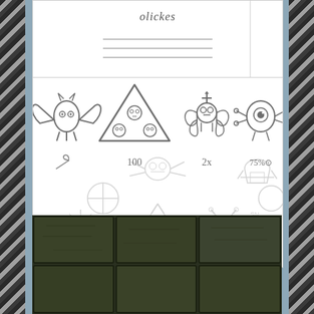[Figure (illustration): Top portion of a white panel showing handwritten cursive text and horizontal lines, like a name card or label.]
[Figure (illustration): Sketch panel showing four hand-drawn game icons: a winged axe figure, a triangle with skulls (labeled 100), a skull butterfly (labeled 2x), and a cyclops creature (labeled 75% sun symbol). Below are faded/ghosted sketches of additional symbols including a Celtic triquetra labeled 'ETERNITY RESPAWN PAD?', a snowflake, an X mark labeled 'ING', a Viking helmet, a circle symbol, and a skull spider.]
Edit: Painted texture style, more flat (in general direction of TF2/Overwatch). Might work better with the less gritty animé characters?
[Figure (photo): Dark green stone tile texture image showing a grid of stone blocks.]